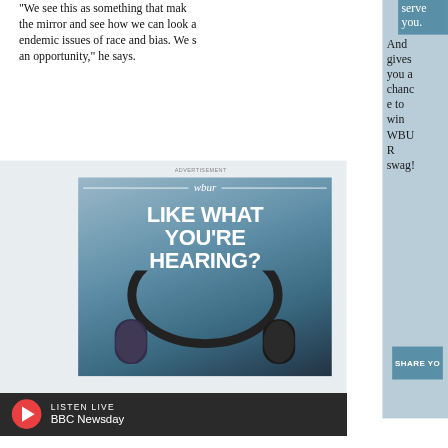the mirror and see how we can look at the endemic issues of race and bias. We see this as an opportunity," he says.
serve you. And gives you a chance to win WBUR swag!
ADVERTISEMENT
[Figure (illustration): WBUR radio station advertisement with headphones image and text 'LIKE WHAT YOU'RE HEARING?']
SHARE YO
LISTEN LIVE
BBC Newsday